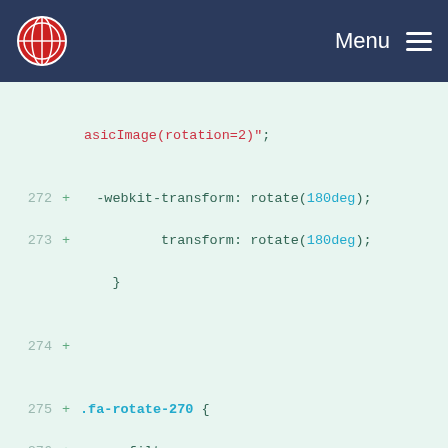Menu
[Figure (screenshot): Code diff view showing CSS lines 272-284 with line numbers, plus signs, and syntax-highlighted code for fa-rotate-270 and fa-flip-horizontal CSS classes]
272  +    -webkit-transform: rotate(180deg);
273  +            transform: rotate(180deg);  }
274  +
275  + .fa-rotate-270 {
276  +   -ms-filter: "progid:DXImageTransform.Microsoft.BasicImage(rotation=3)";
277  +   -webkit-transform: rotate(270deg);
278  +           transform: rotate(270deg);  }
279  +
280  + .fa-flip-horizontal {
281  +   -ms-filter: "progid:DXImageTransform.Microsoft.BasicImage(rotation=0, mirror=1)";
282  +   -webkit-transform: scale(-1, 1);
283  +           transform: scale(-1, 1); }
284  +